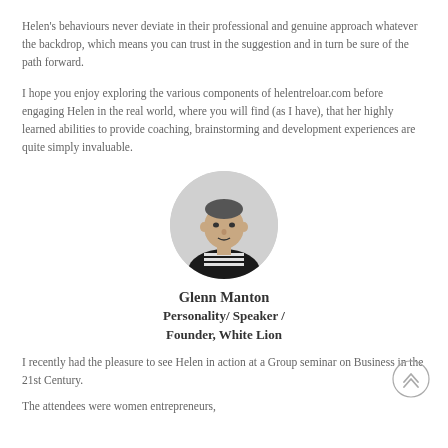Helen's behaviours never deviate in their professional and genuine approach whatever the backdrop, which means you can trust in the suggestion and in turn be sure of the path forward.
I hope you enjoy exploring the various components of helentreloar.com before engaging Helen in the real world, where you will find (as I have), that her highly learned abilities to provide coaching, brainstorming and development experiences are quite simply invaluable.
[Figure (photo): Circular cropped black and white photo of Glenn Manton, a man wearing a striped shirt and dark jacket.]
Glenn Manton
Personality/ Speaker /
Founder, White Lion
I recently had the pleasure to see Helen in action at a Group seminar on Business in the 21st Century.
The attendees were women entrepreneurs,